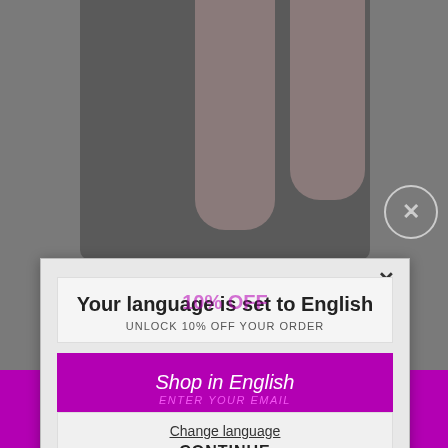[Figure (screenshot): Screenshot of a fashion website showing legs in dark tights/stockings as background, with two overlapping modal dialogs: a language selection dialog and a 10% off promotional popup, plus a purple menu bar at the bottom with Cyrillic text МЕНЮ]
Your language is set to English
UNLOCK 10% OFF YOUR ORDER
Shop in English
ENTER YOUR EMAIL
Change language
CONTINUE
10% OFF
распродажа
МЕНЮ